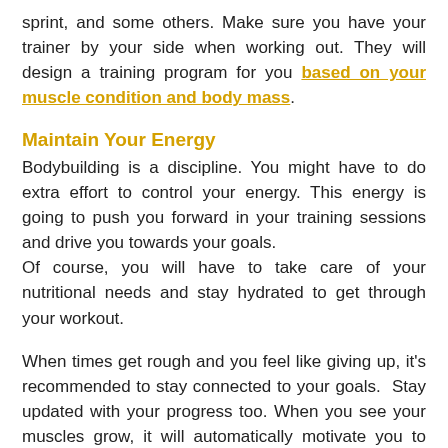sprint, and some others. Make sure you have your trainer by your side when working out. They will design a training program for you based on your muscle condition and body mass.
Maintain Your Energy
Bodybuilding is a discipline. You might have to do extra effort to control your energy. This energy is going to push you forward in your training sessions and drive you towards your goals.
Of course, you will have to take care of your nutritional needs and stay hydrated to get through your workout.
When times get rough and you feel like giving up, it's recommended to stay connected to your goals.  Stay updated with your progress too. When you see your muscles grow, it will automatically motivate you to keep going.
Once you feel confident and you think you can do it alone,